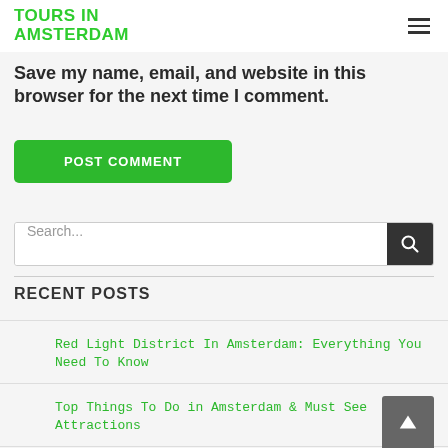TOURS IN AMSTERDAM
Save my name, email, and website in this browser for the next time I comment.
POST COMMENT
Search...
RECENT POSTS
Red Light District In Amsterdam: Everything You Need To Know
Top Things To Do in Amsterdam & Must See Attractions
The Definitive Guide To Amsterdam Beer Bars
Top 10 Strip Clubs in Amsterdam, Netherlands